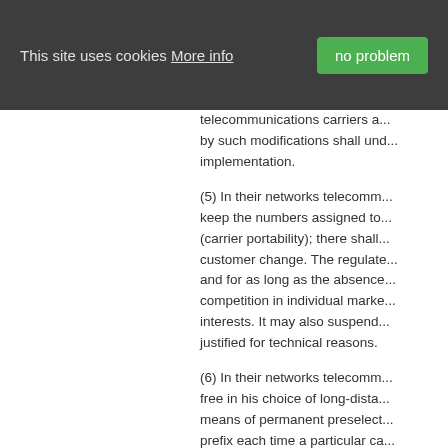This site uses cookies More info [no problem button]
telecommunications carriers a... by such modifications shall un... implementation.
(5) In their networks telecomm... keep the numbers assigned to... (carrier portability); there shall... customer change. The regulate... and for as long as the absence... competition in individual marke... interests. It may also suspend... justified for technical reasons.
(6) In their networks telecomm... free in his choice of long-dista... means of permanent preselect... prefix each time a particular ca... this obligation wholly or partial... technical reasons.